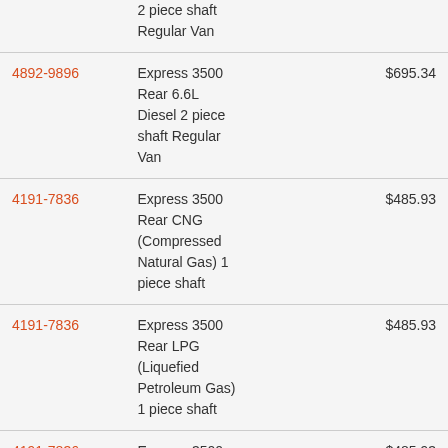| Part Number | Description | Price |
| --- | --- | --- |
|  | 2 piece shaft Regular Van |  |
| 4892-9896 | Express 3500 Rear 6.6L Diesel 2 piece shaft Regular Van | $695.34 |
| 4191-7836 | Express 3500 Rear CNG (Compressed Natural Gas) 1 piece shaft | $485.93 |
| 4191-7836 | Express 3500 Rear LPG (Liquefied Petroleum Gas) 1 piece shaft | $485.93 |
| 4191-7836 | Express 3500 Rear 4.8L 1 | $485.93 |